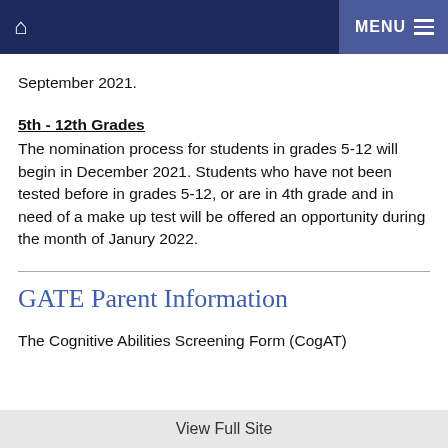🏠  MENU ☰
September 2021.
5th - 12th Grades
The nomination process for students in grades 5-12 will begin in December 2021. Students who have not been tested before in grades 5-12, or are in 4th grade and in need of a make up test will be offered an opportunity during the month of Janury 2022.
GATE Parent Information
The Cognitive Abilities Screening Form (CogAT)
View Full Site